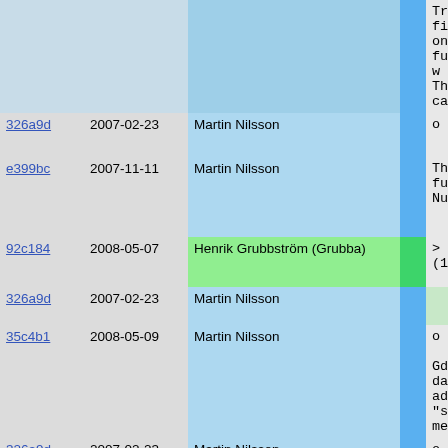| hash | date | author |  | description |
| --- | --- | --- | --- | --- |
|  |  |  |  | Traversio
first one
function w
This callb |
| 326a9d | 2007-02-23 | Martin Nilsson |  | o Float |
| e399bc | 2007-11-11 | Martin Nilsson |  | The functi
Number. |
| 92c184 | 2008-05-07 | Henrik Grubbström (Grubba) |  | > Float
(1) Resu |
| 326a9d | 2007-02-23 | Martin Nilsson |  |  |
| 35c4b1 | 2008-05-09 | Martin Nilsson |  | o Gdbm

Gdbm datab
adding "s"
method. |
| 326a9d | 2007-02-23 | Martin Nilsson |  | o Geography |
| e399bc | 2007-11-11 | Martin Nilsson |  | It is now |
| 326a9d | 2007-02-23 | Martin Nilsson |  | o GLUE |
| e399bc | 2007-11-11 | Martin Nilsson |  |  |